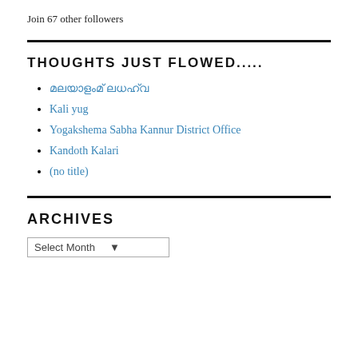Join 67 other followers
THOUGHTS JUST FLOWED.....
മലയാളം ലിങ്ക്
Kali yug
Yogakshema Sabha Kannur District Office
Kandoth Kalari
(no title)
ARCHIVES
Select Month